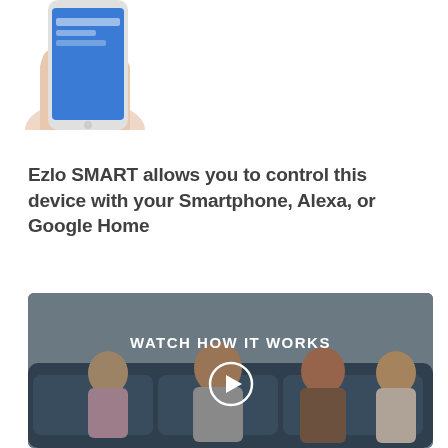[Figure (photo): A hand holding a smartphone displaying a blue app screen, cropped at the top of the page.]
Ezlo SMART allows you to control this device with your Smartphone, Alexa, or Google Home
[Figure (screenshot): A video thumbnail showing a family—man, woman, and two children—sitting together on a dark blue couch, with a play button overlay and text 'WATCH HOW IT WORKS'.]